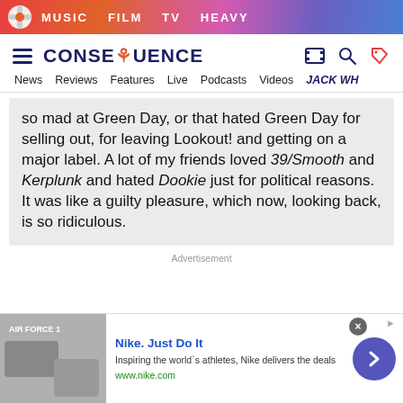MUSIC  FILM  TV  HEAVY
[Figure (logo): CONSEQUENCE logo with navigation icons]
News  Reviews  Features  Live  Podcasts  Videos  JACK WH...
so mad at Green Day, or that hated Green Day for selling out, for leaving Lookout! and getting on a major label. A lot of my friends loved 39/Smooth and Kerplunk and hated Dookie just for political reasons. It was like a guilty pleasure, which now, looking back, is so ridiculous.
Advertisement
[Figure (screenshot): Nike. Just Do It advertisement banner. Inspiring the world's athletes, Nike delivers the deals. www.nike.com]